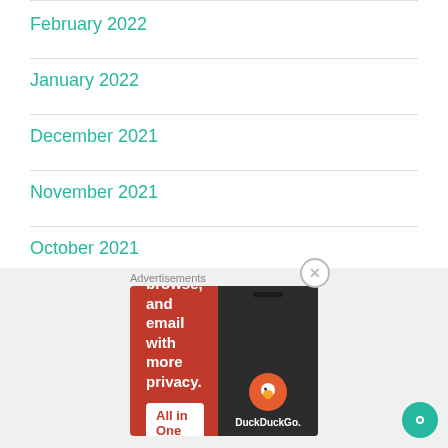February 2022
January 2022
December 2021
November 2021
October 2021
September 2021
[Figure (screenshot): DuckDuckGo advertisement banner with orange background. Text: 'Search, browse, and email with more privacy. All in One Free App'. Shows DuckDuckGo logo on phone.]